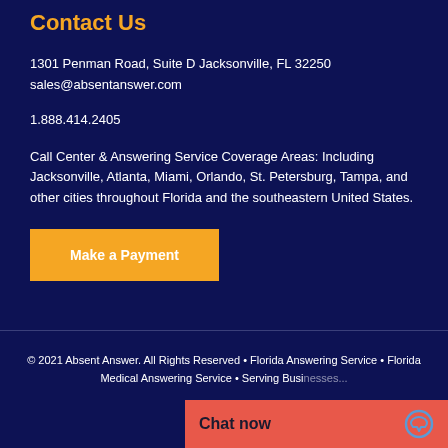Contact Us
1301 Penman Road, Suite D Jacksonville, FL 32250
sales@absentanswer.com
1.888.414.2405
Call Center & Answering Service Coverage Areas: Including Jacksonville, Atlanta, Miami, Orlando, St. Petersburg, Tampa, and other cities throughout Florida and the southeastern United States.
Make a Payment
© 2021 Absent Answer. All Rights Reserved • Florida Answering Service • Florida Medical Answering Service • Serving Busi...
Chat now